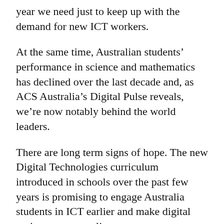year we need just to keep up with the demand for new ICT workers.
At the same time, Australian students’ performance in science and mathematics has declined over the last decade and, as ACS Australia’s Digital Pulse reveals, we’re now notably behind the world leaders.
There are long term signs of hope. The new Digital Technologies curriculum introduced in schools over the past few years is promising to engage Australia students in ICT earlier and make digital topics more appealing to younger Australians, although we’ll have to wait until we can see the fruits of those efforts.
In the meantime, skills need be on the lips of every politician, every business leader. We can’t